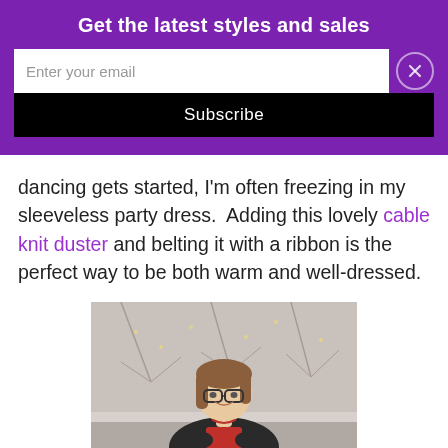Get the latest styles and sales
Enter your email
Subscribe
dancing gets started, I'm often freezing in my sleeveless party dress.  Adding this lovely cable knit duster and belting it with a ribbon is the perfect way to be both warm and well-dressed.
[Figure (photo): Woman with glasses smiling outdoors in front of trees with lights, wearing a red top and dark cardigan]